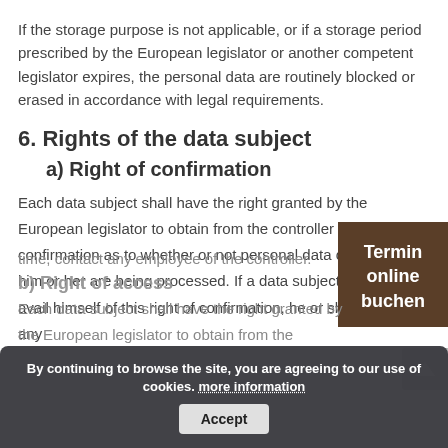If the storage purpose is not applicable, or if a storage period prescribed by the European legislator or another competent legislator expires, the personal data are routinely blocked or erased in accordance with legal requirements.
6. Rights of the data subject
a) Right of confirmation
Each data subject shall have the right granted by the European legislator to obtain from the controller the confirmation as to whether or not personal data concerning him or her are being processed. If a data subject wishes to avail himself of this right of confirmation, he or she may, at any
time, contact any employee of the controller.
b) Right of access
Each data subject shall have the right granted by the European legislator to obtain from the
By continuing to browse the site, you are agreeing to our use of cookies. more information
Accept